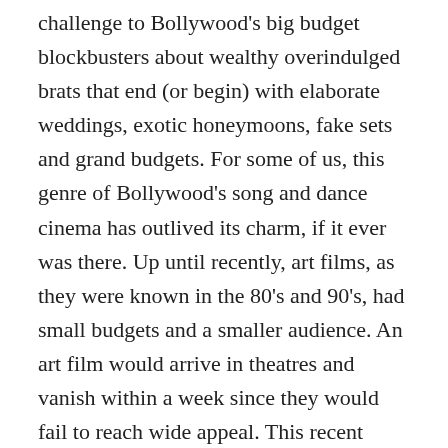challenge to Bollywood's big budget blockbusters about wealthy overindulged brats that end (or begin) with elaborate weddings, exotic honeymoons, fake sets and grand budgets. For some of us, this genre of Bollywood's song and dance cinema has outlived its charm, if it ever was there. Up until recently, art films, as they were known in the 80's and 90's, had small budgets and a smaller audience. An art film would arrive in theatres and vanish within a week since they would fail to reach wide appeal. This recent challenge to the mainstream brings home the possibility of a widely appealing form of entertainment through movies like Dhobi Ghat, Lipstick under my Burkha, Lunch Box, Vicky Donor, Dam Laga Ke Haisha, Dangal, Badhai Ho, and others. Interestingly, recently, several of